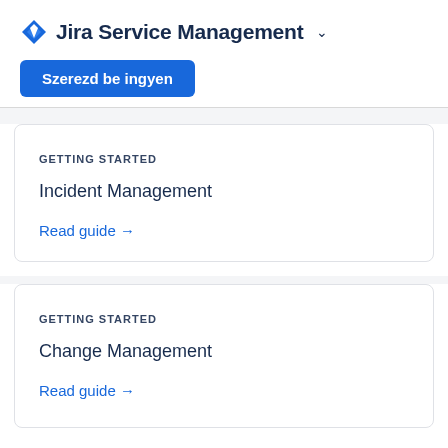⚡ Jira Service Management ∨
Szerezd be ingyen
GETTING STARTED
Incident Management
Read guide →
GETTING STARTED
Change Management
Read guide →